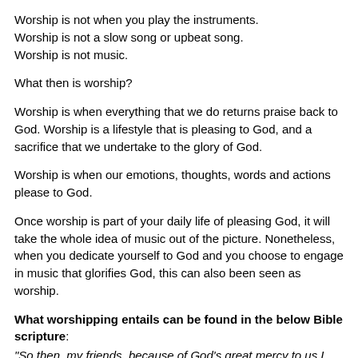Worship is not when you play the instruments.
Worship is not a slow song or upbeat song.
Worship is not music.
What then is worship?
Worship is when everything that we do returns praise back to God. Worship is a lifestyle that is pleasing to God, and a sacrifice that we undertake to the glory of God.
Worship is when our emotions, thoughts, words and actions please to God.
Once worship is part of your daily life of pleasing God, it will take the whole idea of music out of the picture. Nonetheless, when you dedicate yourself to God and you choose to engage in music that glorifies God, this can also been seen as worship.
What worshipping entails can be found in the below Bible scripture:
"So then, my friends, because of God's great mercy to us I